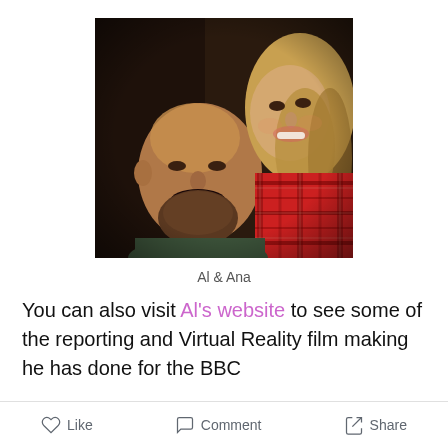[Figure (photo): A smiling couple taking a selfie; a bald bearded man in the foreground and a woman with long hair wearing a red plaid shirt in the background.]
Al & Ana
You can also visit Al's website to see some of the reporting and Virtual Reality film making he has done for the BBC
Share Off-grid and ignorant in Portugal
Like   Comment   Share